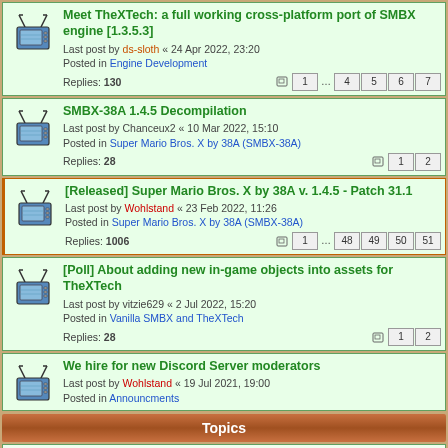Meet TheXTech: a full working cross-platform port of SMBX engine [1.3.5.3] — Last post by ds-sloth « 24 Apr 2022, 23:20 — Posted in Engine Development — Replies: 130 — Pages: 1 ... 4 5 6 7
SMBX-38A 1.4.5 Decompilation — Last post by Chanceux2 « 10 Mar 2022, 15:10 — Posted in Super Mario Bros. X by 38A (SMBX-38A) — Replies: 28 — Pages: 1 2
[Released] Super Mario Bros. X by 38A v. 1.4.5 - Patch 31.1 — Last post by Wohlstand « 23 Feb 2022, 11:26 — Posted in Super Mario Bros. X by 38A (SMBX-38A) — Replies: 1006 — Pages: 1 ... 48 49 50 51
[Poll] About adding new in-game objects into assets for TheXTech — Last post by vitzie629 « 2 Jul 2022, 15:20 — Posted in Vanilla SMBX and TheXTech — Replies: 28 — Pages: 1 2
We hire for new Discord Server moderators — Last post by Wohlstand « 19 Jul 2021, 19:00 — Posted in Announcments
Topics
LVLX File specification — Last post by Kevsoft « 15 Feb 2015, 10:29 — Replies: 2
WLDX file specification — Last post by Wohlstand « 26 Sep 2014, 23:09